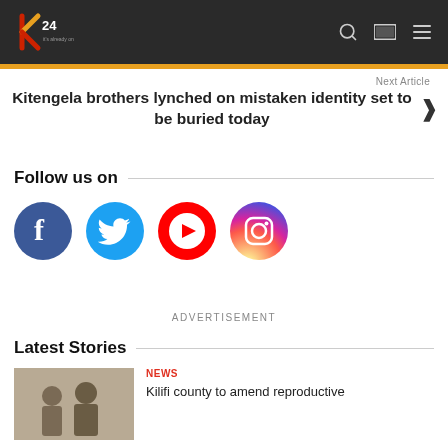K24 logo and navigation header
Next Article
Kitengela brothers lynched on mistaken identity set to be buried today
Follow us on
[Figure (logo): Social media icons: Facebook, Twitter, YouTube, Instagram]
ADVERTISEMENT
Latest Stories
NEWS
Kilifi county to amend reproductive